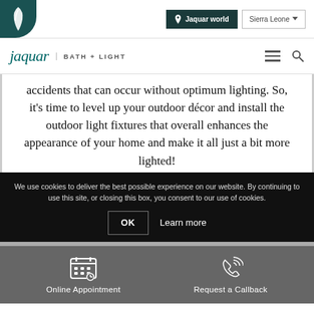Jaquar world | Sierra Leone
[Figure (logo): Jaquar BATH+LIGHT logo with teal feather/leaf icon]
accidents that can occur without optimum lighting. So, it's time to level up your outdoor décor and install the outdoor light fixtures that overall enhances the appearance of your home and make it all just a bit more lighted!
We use cookies to deliver the best possible experience on our website. By continuing to use this site, or closing this box, you consent to our use of cookies.
OK  Learn more
Online Appointment  Request a Callback